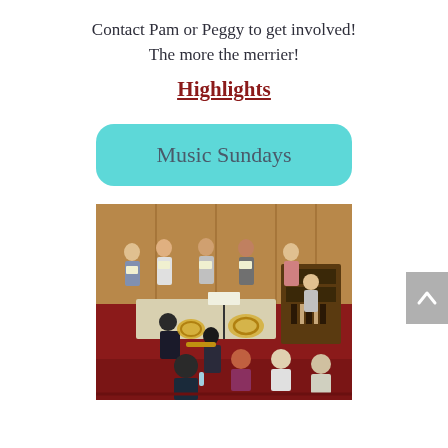Contact Pam or Peggy to get involved! The more the merrier!
Highlights
Music Sundays
[Figure (photo): Group of choir singers and brass musicians rehearsing inside a wood-paneled church sanctuary with red carpeted floor and organ visible in background.]